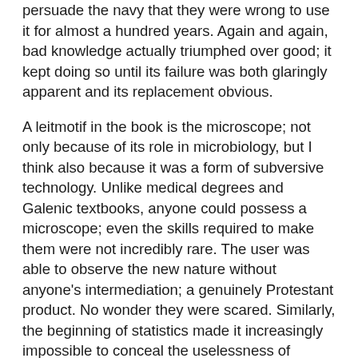persuade the navy that they were wrong to use it for almost a hundred years. Again and again, bad knowledge actually triumphed over good; it kept doing so until its failure was both glaringly apparent and its replacement obvious.
A leitmotif in the book is the microscope; not only because of its role in microbiology, but I think also because it was a form of subversive technology. Unlike medical degrees and Galenic textbooks, anyone could possess a microscope; even the skills required to make them were not incredibly rare. The user was able to observe the new nature without anyone's intermediation; a genuinely Protestant product. No wonder they were scared. Similarly, the beginning of statistics made it increasingly impossible to conceal the uselessness of medicine. John Snow could plot cholera cases on a map; so could the priest Henry Whitehead, who set out to conduct his own research in order to refute Snow but ended up convincing himself. Counting, like microscopy, was fatal to the closed system of knowledge.
None of this guarantees success; Snow had to convince William Farr, a top government official and a sort of David